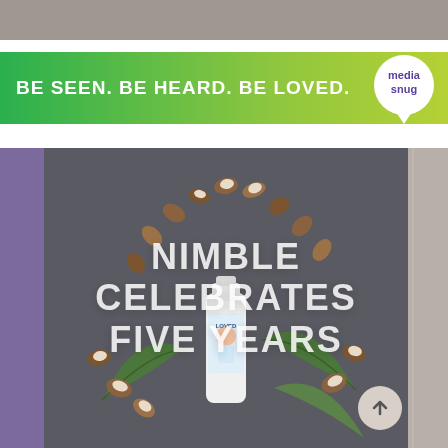[Figure (advertisement): Green gradient banner ad reading 'BE SEEN. BE HEARD. BE LOVED.' with Media Snug logo on right]
[Figure (photo): Product photo of Nimble baby cleaning product bottle surrounded by coconut pieces and green leaves arranged in an arch on a dark gray background, with overlaid white text 'NIMBLE CELEBRATES FIVE YEARS']
NIMBLE CELEBRATES FIVE YEARS